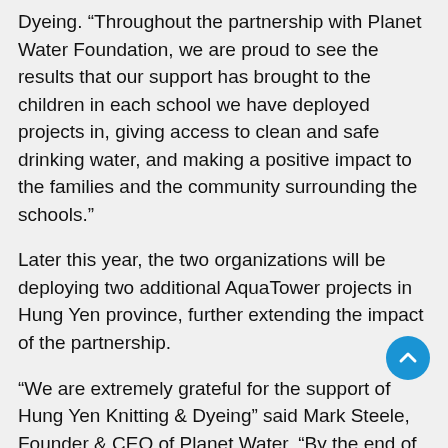Dyeing. “Throughout the partnership with Planet Water Foundation, we are proud to see the results that our support has brought to the children in each school we have deployed projects in, giving access to clean and safe drinking water, and making a positive impact to the families and the community surrounding the schools.”
Later this year, the two organizations will be deploying two additional AquaTower projects in Hung Yen province, further extending the impact of the partnership.
“We are extremely grateful for the support of Hung Yen Knitting & Dyeing” said Mark Steele, Founder & CEO of Planet Water. “By the end of this year, through our partnership we will have brought access to clean, safe drinking water to up to 10,800 people, and provided hygiene education to over 4,000 students and community members.”